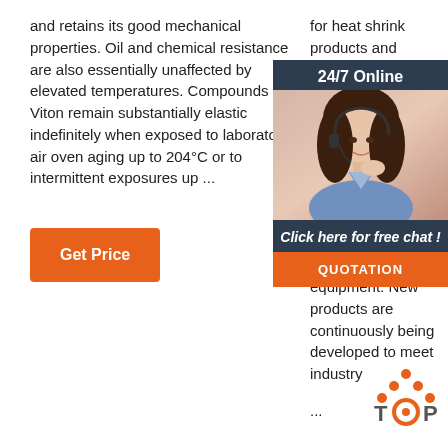and retains its good mechanical properties. Oil and chemical resistance are also essentially unaffected by elevated temperatures. Compounds of Viton remain substantially elastic indefinitely when exposed to laboratory air oven aging up to 204°C or to intermittent exposures up ...
for heat shrink products and related technology. Our pro-duct offering includes polyolefin, fluoropolymer, elastomer, PVC heat shrink, based thin, medium, heavy wall tubing as well as heat shrink accessories and equipment. New products are continuously being developed to meet industry ...
[Figure (photo): Customer service widget with '24/7 Online' header, photo of smiling woman with headset, 'Click here for free chat!' text, and orange QUOTATION button]
[Figure (logo): Orange and grey TOP logo with dot pattern]
Get Price